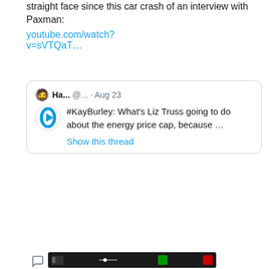straight face since this car crash of an interview with Paxman:
youtube.com/watch?v=sVTQaT…
[Figure (screenshot): Quoted tweet from Ha... @... · Aug 23 with Sky News logo, text: #KayBurley: What's Liz Truss going to do about the energy price cap, because … Show this thread]
Goodness me. #henrycow
[Figure (screenshot): Dark media thumbnail image at bottom]